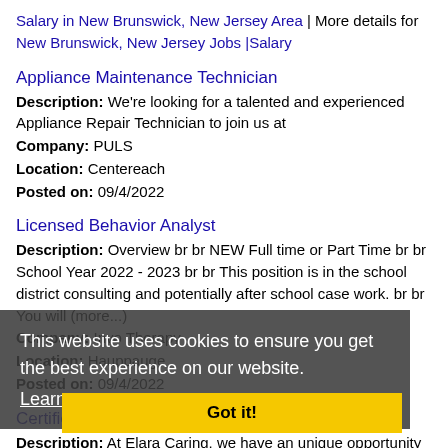Salary in New Brunswick, New Jersey Area | More details for New Brunswick, New Jersey Jobs |Salary
Appliance Maintenance Technician
Description: We're looking for a talented and experienced Appliance Repair Technician to join us at
Company: PULS
Location: Centereach
Posted on: 09/4/2022
Licensed Behavior Analyst
Description: Overview br br NEW Full time or Part Time br br School Year 2022 - 2023 br br This position is in the school district consulting and potentially after school case work. br br You will (more...)
Company: Invo Therapy
Location: Hauppauge
Posted on: 09/4/2022
Certified Home Health Chha Medford
Description: At Elara Caring, we have an unique opportunity to play a huge role in the growth of an entire home care industry. Here, each employee has the chance to make a real difference by
This website uses cookies to ensure you get the best experience on our website. Learn more
Got it!